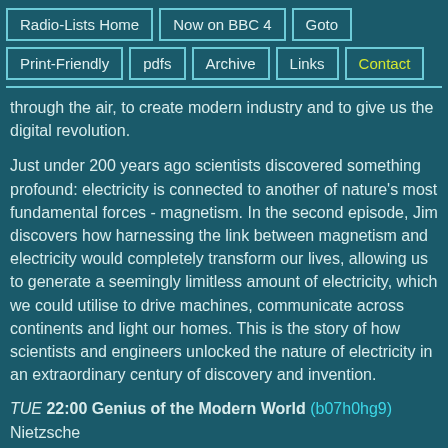Radio-Lists Home | Now on BBC 4 | Goto | Print-Friendly | pdfs | Archive | Links | Contact
through the air, to create modern industry and to give us the digital revolution.
Just under 200 years ago scientists discovered something profound: electricity is connected to another of nature's most fundamental forces - magnetism. In the second episode, Jim discovers how harnessing the link between magnetism and electricity would completely transform our lives, allowing us to generate a seemingly limitless amount of electricity, which we could utilise to drive machines, communicate across continents and light our homes. This is the story of how scientists and engineers unlocked the nature of electricity in an extraordinary century of discovery and invention.
TUE 22:00 Genius of the Modern World (b07h0hg9)
Nietzsche
The philosopher Friedrich Nietzsche was one of the most brilliant minds of the 19th century. His...